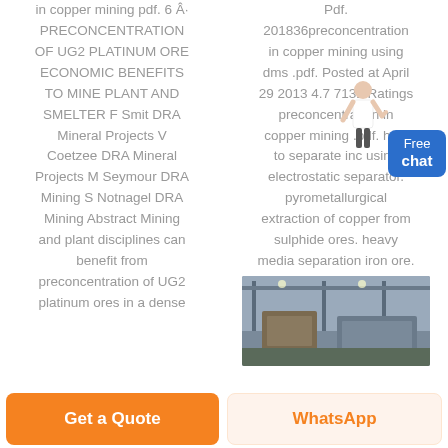in copper mining pdf. 6 Â· PRECONCENTRATION OF UG2 PLATINUM ORE ECONOMIC BENEFITS TO MINE PLANT AND SMELTER F Smit DRA Mineral Projects V Coetzee DRA Mineral Projects M Seymour DRA Mining S Notnagel DRA Mining Abstract Mining and plant disciplines can benefit from preconcentration of UG2 platinum ores in a dense
Pdf. 201836preconcentration in copper mining using dms .pdf. Posted at April 29 2013 4.7 7131 Ratings preconcentration in copper mining .pdf. how to separate inc using electrostatic separator. pyrometallurgical extraction of copper from sulphide ores. heavy media separation iron ore.
[Figure (photo): Industrial mining facility interior showing large equipment and machinery]
Get a Quote
WhatsApp